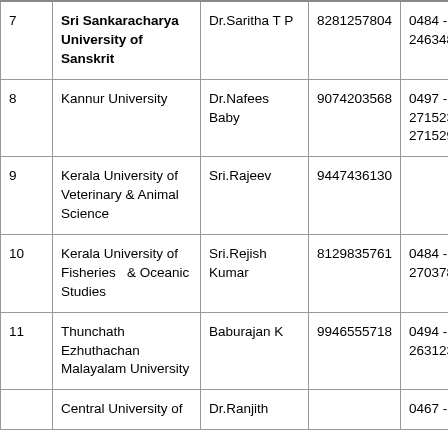| # | University | Contact | Mobile | Phone | Email |
| --- | --- | --- | --- | --- | --- |
| 7 | Sri Sankaracharya University of Sanskrit | Dr.Saritha T P | 8281257804 | 0484 - 2463480 | nss... |
| 8 | Kannur University | Dr.Nafees Baby | 9074203568 | 0497 - 2715232, 2715291 | dss...
nssl... |
| 9 | Kerala University of Veterinary & Animal Science | Sri.Rajeev | 9447436130 |  | dsw... |
| 10 | Kerala University of Fisheries  & Oceanic Studies | Sri.Rejish Kumar | 8129835761 | 0484 - 2703781 | kufo...
rejis... |
| 11 | Thunchath Ezhuthachan Malayalam University | Baburajan K | 9946555718 | 0494 - 2631230 | bab...
kova...
mala... |
| 12 | Central University of | Dr.Ranjith |  | 0467 - | rnku... |